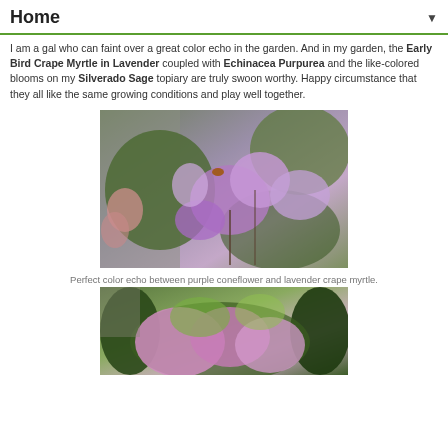Home
I am a gal who can faint over a great color echo in the garden. And in my garden, the Early Bird Crape Myrtle in Lavender coupled with Echinacea Purpurea and the like-colored blooms on my Silverado Sage topiary are truly swoon worthy. Happy circumstance that they all like the same growing conditions and play well together.
[Figure (photo): Close-up photo of purple/lavender flowers — crape myrtle and coneflower blooms together in a garden setting]
Perfect color echo between purple coneflower and lavender crape myrtle.
[Figure (photo): Garden scene showing pink/lavender flowering shrubs and green foliage in a backyard garden]